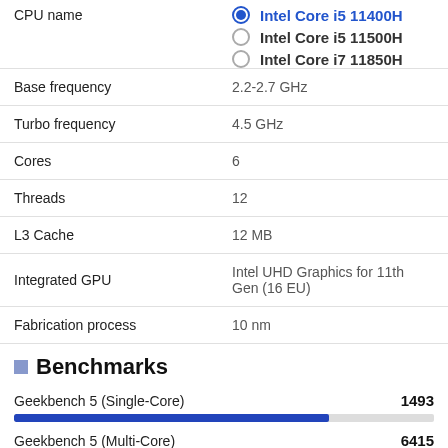| Property | Value |
| --- | --- |
| CPU name | Intel Core i5 11400H (selected); Intel Core i5 11500H; Intel Core i7 11850H |
| Base frequency | 2.2-2.7 GHz |
| Turbo frequency | 4.5 GHz |
| Cores | 6 |
| Threads | 12 |
| L3 Cache | 12 MB |
| Integrated GPU | Intel UHD Graphics for 11th Gen (16 EU) |
| Fabrication process | 10 nm |
Benchmarks
Geekbench 5 (Single-Core)   1493
Geekbench 5 (Multi-Core)   6415